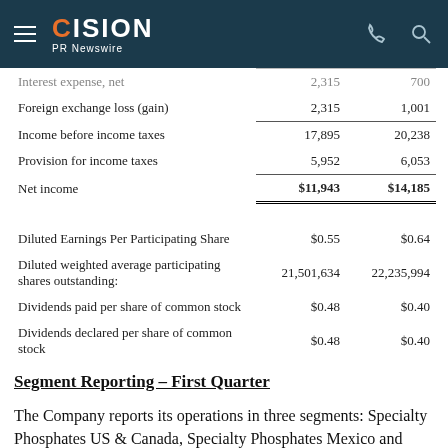CISION PR Newswire
|  | Col1 | Col2 |
| --- | --- | --- |
| Interest expense, net | 2,315 | 700 |
| Foreign exchange loss (gain) | 2,315 | 1,001 |
| Income before income taxes | 17,895 | 20,238 |
| Provision for income taxes | 5,952 | 6,053 |
| Net income | $11,943 | $14,185 |
|  |  |  |
| Diluted Earnings Per Participating Share | $0.55 | $0.64 |
| Diluted weighted average participating shares outstanding: | 21,501,634 | 22,235,994 |
| Dividends paid per share of common stock | $0.48 | $0.40 |
| Dividends declared per share of common stock | $0.48 | $0.40 |
Segment Reporting – First Quarter
The Company reports its operations in three segments: Specialty Phosphates US & Canada, Specialty Phosphates Mexico and GTSP & Other. Th…